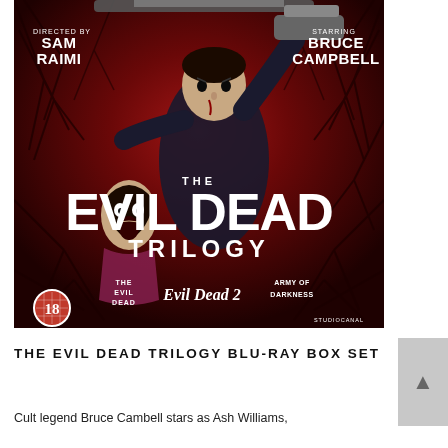[Figure (photo): The Evil Dead Trilogy Blu-ray box set cover art. Deep red background with dark bare tree branches. Center shows a man (Bruce Campbell as Ash Williams) wielding a chainsaw overhead. A screaming woman is to his left. Top left reads 'DIRECTED BY SAM RAIMI', top right reads 'STARRING BRUCE CAMPBELL'. Center title reads 'THE EVIL DEAD TRILOGY'. Bottom shows logos for 'THE EVIL DEAD', 'Evil Dead 2', and 'ARMY OF DARKNESS'. Bottom left shows UK age rating badge '18'. Bottom right shows 'STUDIOCANAL' logo.]
THE EVIL DEAD TRILOGY BLU-RAY BOX SET
Cult legend Bruce Cambell stars as Ash Williams,